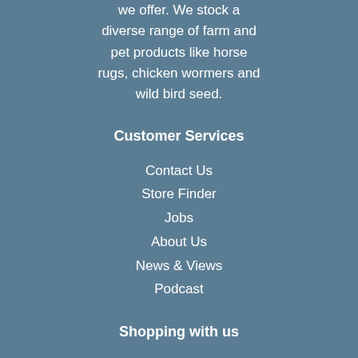we offer. We stock a diverse range of farm and pet products like horse rugs, chicken wormers and wild bird seed.
Customer Services
Contact Us
Store Finder
Jobs
About Us
News & Views
Podcast
Shopping with us
Delivery & Returns
Frequently Asked Questions
Terms & Conditions